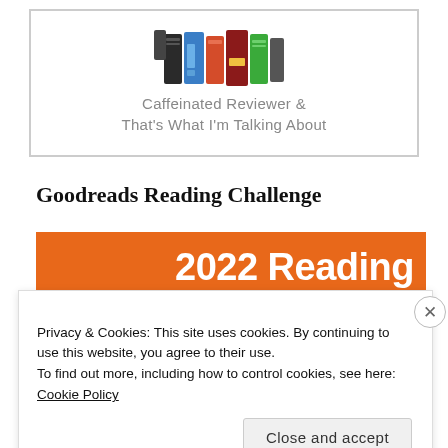[Figure (illustration): Logo image showing colorful books on a shelf with text 'Caffeinated Reviewer & That's What I'm Talking About' in gray serif font on white background with border]
Goodreads Reading Challenge
[Figure (illustration): Orange banner with large white bold text reading '2022 Reading']
Privacy & Cookies: This site uses cookies. By continuing to use this website, you agree to their use.
To find out more, including how to control cookies, see here: Cookie Policy
Close and accept